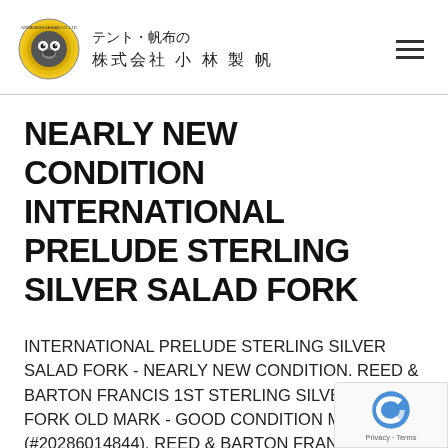テント・帆布の 株式会社 小 林 製 帆
NEARLY NEW CONDITION INTERNATIONAL PRELUDE STERLING SILVER SALAD FORK
INTERNATIONAL PRELUDE STERLING SILVER SALAD FORK - NEARLY NEW CONDITION. REED & BARTON FRANCIS 1ST STERLING SILVER SALAD FORK OLD MARK - GOOD CONDITION M (#20286014844). REED & BARTON FRANCIS 1ST STERLING SILVER